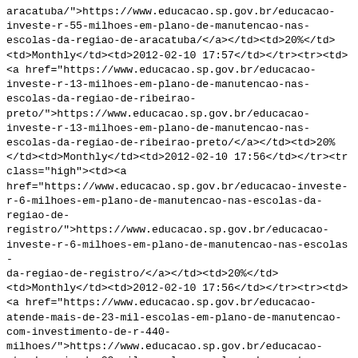aracatuba/">https://www.educacao.sp.gov.br/educacao-investe-r-55-milhoes-em-plano-de-manutencao-nas-escolas-da-regiao-de-aracatuba/</a></td><td>20%</td><td>Monthly</td><td>2012-02-10 17:57</td></tr><tr><td><a href="https://www.educacao.sp.gov.br/educacao-investe-r-13-milhoes-em-plano-de-manutencao-nas-escolas-da-regiao-de-ribeirao-preto/">https://www.educacao.sp.gov.br/educacao-investe-r-13-milhoes-em-plano-de-manutencao-nas-escolas-da-regiao-de-ribeirao-preto/</a></td><td>20%</td><td>Monthly</td><td>2012-02-10 17:56</td></tr><tr class="high"><td><a href="https://www.educacao.sp.gov.br/educacao-investe-r-6-milhoes-em-plano-de-manutencao-nas-escolas-da-regiao-de-registro/">https://www.educacao.sp.gov.br/educacao-investe-r-6-milhoes-em-plano-de-manutencao-nas-escolas-da-regiao-de-registro/</a></td><td>20%</td><td>Monthly</td><td>2012-02-10 17:56</td></tr><tr><td><a href="https://www.educacao.sp.gov.br/educacao-atende-mais-de-23-mil-escolas-em-plano-de-manutencao-com-investimento-de-r-440-milhoes/">https://www.educacao.sp.gov.br/educacao-atende-mais-de-23-mil-escolas-em-plano-de-manutencao-com-investimento-de-r-440-milhoes/</a></td><td>20%</td><td>Monthly</td><td>2012-02-10 12:04</td></tr><tr class="high"><td><a href="https://www.educacao.sp.gov.br/hoje-e-o-ultimo-dia-para-inscricoes-no-curso-de-ingles-online/">https://www.educacao.sp.gov.br/hoje-e-o-